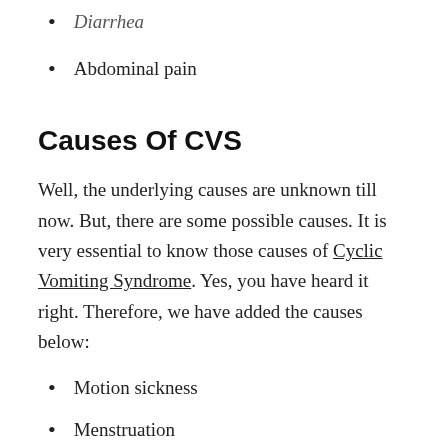Diarrhea
Abdominal pain
Causes Of CVS
Well, the underlying causes are unknown till now. But, there are some possible causes. It is very essential to know those causes of Cyclic Vomiting Syndrome. Yes, you have heard it right. Therefore, we have added the causes below:
Motion sickness
Menstruation
Excessive exercise